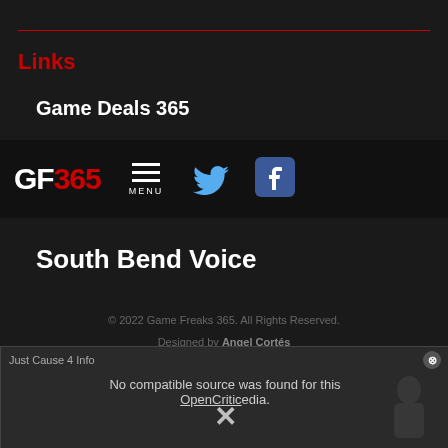Links
Game Deals 365
[Figure (logo): GF365 logo with navigation bar including menu, Twitter and Facebook icons]
South Bend Voice
© 2022 Game Freaks 365. All Rights Reserved.
Designed by Angel Cortés
[Figure (screenshot): Video player overlay showing 'Just Cause 4 Info' with 'No compatible source was found for this media.' error and OpenCritic text, with X close buttons]